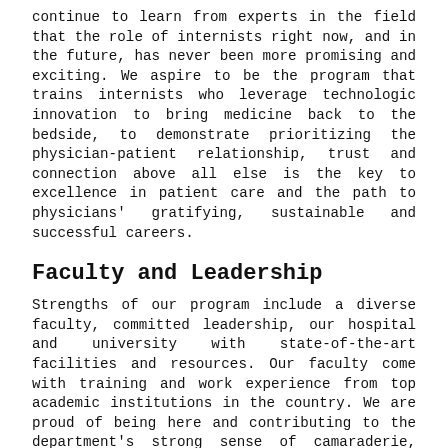continue to learn from experts in the field that the role of internists right now, and in the future, has never been more promising and exciting. We aspire to be the program that trains internists who leverage technologic innovation to bring medicine back to the bedside, to demonstrate prioritizing the physician-patient relationship, trust and connection above all else is the key to excellence in patient care and the path to physicians' gratifying, sustainable and successful careers.
Faculty and Leadership
Strengths of our program include a diverse faculty, committed leadership, our hospital and university with state-of-the-art facilities and resources. Our faculty come with training and work experience from top academic institutions in the country. We are proud of being here and contributing to the department's strong sense of camaraderie, support for innovation, and celebration of diversity that most attracted us to the Internal Medicine Residency Program at Texas Tech University Health Sciences Center El Paso/Hospitals of Providence